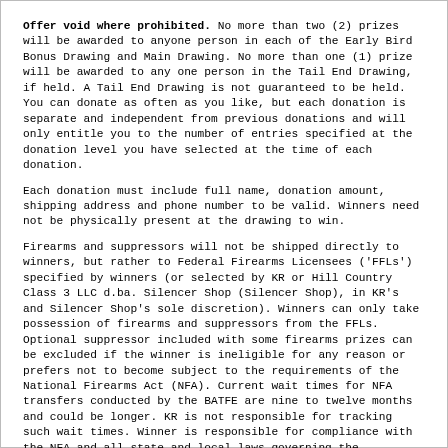Offer void where prohibited. No more than two (2) prizes will be awarded to anyone person in each of the Early Bird Bonus Drawing and Main Drawing. No more than one (1) prize will be awarded to any one person in the Tail End Drawing, if held. A Tail End Drawing is not guaranteed to be held. You can donate as often as you like, but each donation is separate and independent from previous donations and will only entitle you to the number of entries specified at the donation level you have selected at the time of each donation.
Each donation must include full name, donation amount, shipping address and phone number to be valid. Winners need not be physically present at the drawing to win.
Firearms and suppressors will not be shipped directly to winners, but rather to Federal Firearms Licensees ('FFLs') specified by winners (or selected by KR or Hill Country Class 3 LLC d.ba. Silencer Shop (Silencer Shop), in KR's and Silencer Shop's sole discretion). Winners can only take possession of firearms and suppressors from the FFLs. Optional suppressor included with some firearms prizes can be excluded if the winner is ineligible for any reason or prefers not to become subject to the requirements of the National Firearms Act (NFA). Current wait times for NFA transfers conducted by the BATFE are nine to twelve months and could be longer. KR is not responsible for tracking such wait times. Winner is responsible for compliance with the NFA and all state and local laws governing the possession of NFA items in the winner's jurisdiction. Neither KR, nor KR Affiliates (as defined below), nor their successors or assigns, nor the supplier of the suppressor prize, are responsible for failure to complete delivery of such prize for any reason, including without limitation the prize winner's failure to comply with any legal requirements. Declining to accept a suppressor prize, or failure to satisfy the legal requirements for a firearms or suppressor prize selected, forfeits any claim to that firearm or suppressor prize and no replacement, alternative prize, or cash equivalent will be provided. Automatic knives will not be shipped directly to winners unless a legal recipient under 15 U.S.C. §§ 1241-1245 and 18 U.S.C. § 1716(g), but rather to an authorized dealer in eligible winner's state from which winner can claim prize.
Some prizes are subject to additional limitation(s) that is/are included in prize